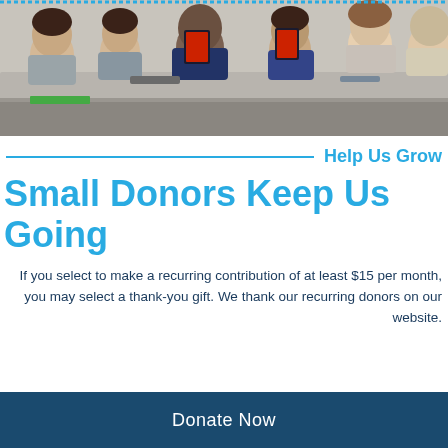[Figure (photo): Classroom photo showing students sitting at curved desks, holding books and smiling at the camera. Some students are using phones. The setting appears to be a university lecture hall.]
Help Us Grow
Small Donors Keep Us Going
If you select to make a recurring contribution of at least $15 per month, you may select a thank-you gift. We thank our recurring donors on our website.
Donate Now